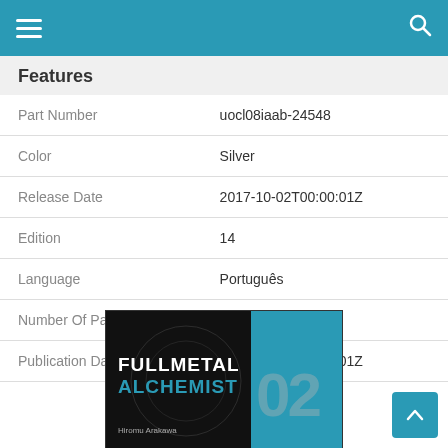Navigation bar with hamburger menu and search icon
Features
| Feature | Value |
| --- | --- |
| Part Number | uocl08iaab-24548 |
| Color | Silver |
| Release Date | 2017-10-02T00:00:01Z |
| Edition | 14 |
| Language | Português |
| Number Of Pages | 192 |
| Publication Date | 2021-09-23T00:00:01Z |
[Figure (photo): Book cover of Fullmetal Alchemist volume 02 by Hiromu Arakawa, black background with teal right panel showing volume number 02]